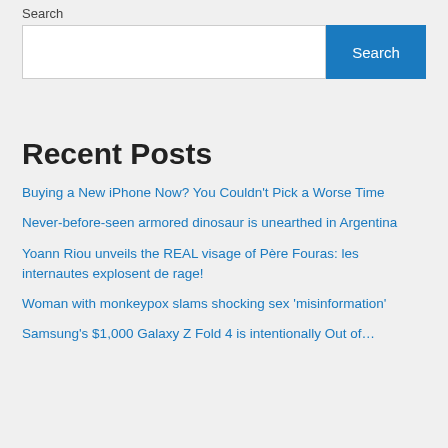Search
[Search input box and Search button]
Recent Posts
Buying a New iPhone Now? You Couldn't Pick a Worse Time
Never-before-seen armored dinosaur is unearthed in Argentina
Yoann Riou unveils the REAL visage of Père Fouras: les internautes explosent de rage!
Woman with monkeypox slams shocking sex 'misinformation'
Samsung's $1,000 Galaxy Z Fold 4 is intentionally Out of…